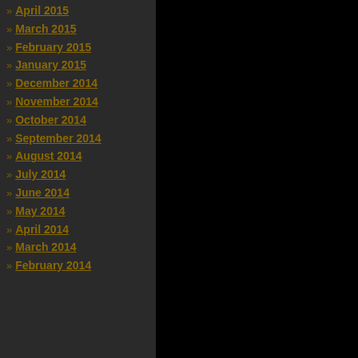» April 2015
» March 2015
» February 2015
» January 2015
» December 2014
» November 2014
» October 2014
» September 2014
» August 2014
» July 2014
» June 2014
» May 2014
» April 2014
» March 2014
» February 2014